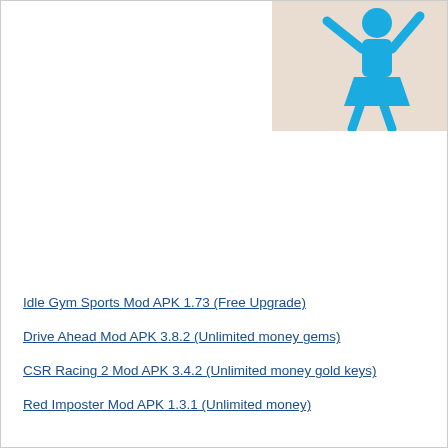[Figure (illustration): A blue stick figure of a person (appearing feminine, wearing a skirt/dress) with one arm raised, against a light beige/cream background.]
Idle Gym Sports Mod APK 1.73 (Free Upgrade)
Drive Ahead Mod APK 3.8.2 (Unlimited money gems)
CSR Racing 2 Mod APK 3.4.2 (Unlimited money gold keys)
Red Imposter Mod APK 1.3.1 (Unlimited money)